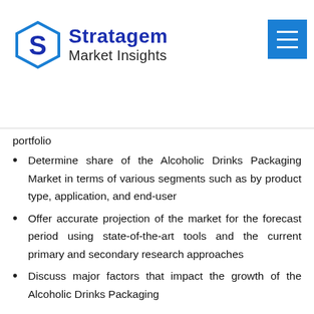[Figure (logo): Stratagem Market Insights logo with hexagonal S icon in blue]
portfolio
Determine share of the Alcoholic Drinks Packaging Market in terms of various segments such as by product type, application, and end-user
Offer accurate projection of the market for the forecast period using state-of-the-art tools and the current primary and secondary research approaches
Discuss major factors that impact the growth of the Alcoholic Drinks Packaging